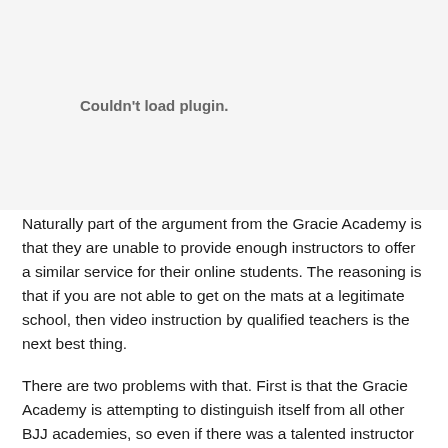[Figure (other): Plugin placeholder area showing 'Couldn't load plugin.' message in gray]
Naturally part of the argument from the Gracie Academy is that they are unable to provide enough instructors to offer a similar service for their online students. The reasoning is that if you are not able to get on the mats at a legitimate school, then video instruction by qualified teachers is the next best thing.
There are two problems with that. First is that the Gracie Academy is attempting to distinguish itself from all other BJJ academies, so even if there was a talented instructor nearby, the Gracie Academy believes for experience would be not to...